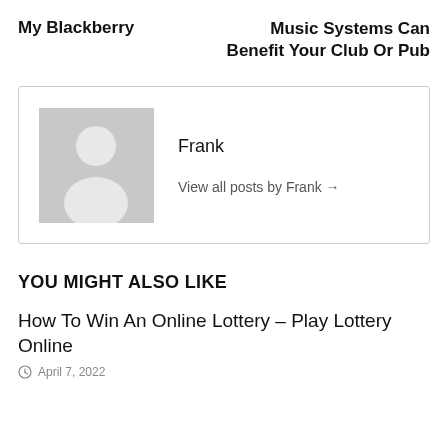My Blackberry
Music Systems Can Benefit Your Club Or Pub
[Figure (illustration): Author avatar placeholder showing a grey silhouette of a person on a grey background]
Frank
View all posts by Frank →
YOU MIGHT ALSO LIKE
How To Win An Online Lottery – Play Lottery Online
April 7, 2022